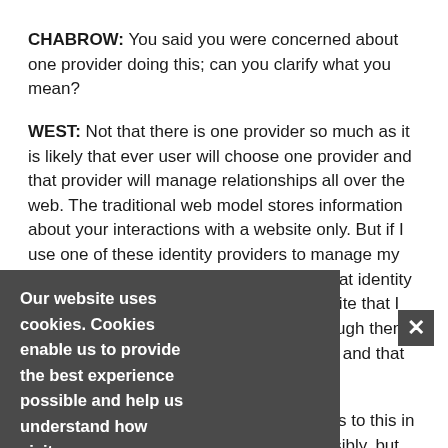CHABROW: You said you were concerned about one provider doing this; can you clarify what you mean?
WEST: Not that there is one provider so much as it is likely that ever user will choose one provider and that provider will manage relationships all over the web. The traditional web model stores information about your interactions with a website only. But if I use one of these identity providers to manage my relationship with government websites, that identity provider will know ever government website that I go to because I have to authenticate through them, or I choose to authenticate through them, and that has privacy ramifications.
Now there are a lot of really good answers to this in about how to implement this very responsibly, but we are watching these concepts evolve now.
Our website uses cookies. Cookies enable us to provide the best experience possible and help us understand how visitors use our website. By browsing govinfosecurity.com, you agree to our use of cookies.